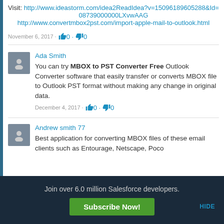Visit: http://www.ideastorm.com/idea2ReadIdea?v=15096189605288&Id=08739000000LXvwAAG http://www.convertmbox2pst.com/import-apple-mail-to-outlook.html
November 6, 2017 · 👍 0 · 👎 0
Ada Smith
You can try MBOX to PST Converter Free Outlook Converter software that easily transfer or converts MBOX file to Outlook PST format without making any change in original data.
December 4, 2017 · 👍 0 · 👎 0
Andrew smith 77
Best application for converting MBOX files of these email clients such as Entourage, Netscape, Poco
Join over 6.0 million Salesforce developers.
Subscribe Now!
HIDE